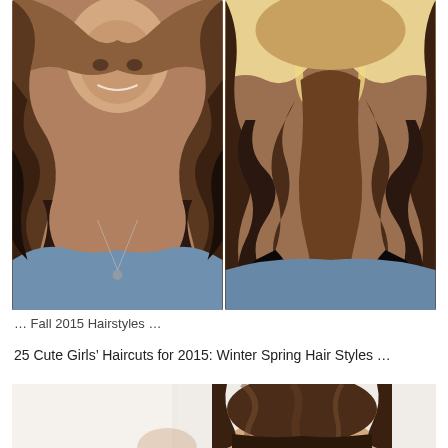[Figure (photo): Side-by-side photos of women with long curly hairstyles. Left photo shows a woman facing forward with long curly brown/ombre hair wearing a denim shirt. Right photo shows the back view of a woman with long curly blonde-to-dark ombre hair wearing a denim shirt.]
… Fall 2015 Hairstyles …
25 Cute Girls' Haircuts for 2015: Winter Spring Hair Styles …
[Figure (photo): Partial photo of a girl with dark brown hair styled in an updo, cropped at the bottom of the page.]